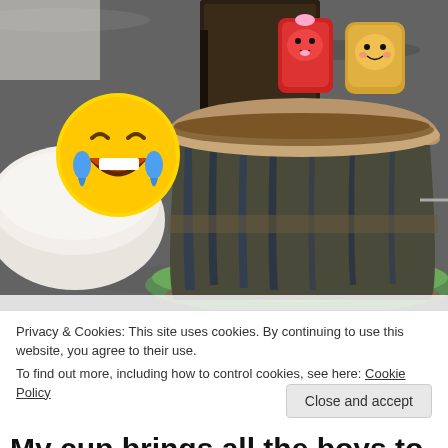[Figure (photo): A ceramic mug with drip glaze in brown, blue, and green colors filled with liquid, sitting on a green saucer on a kitchen counter. Behind it are cute plush/toy figures resembling bread slices with faces, a dark decorative book, and a white bowl. A laughing-with-tears emoji is overlaid in the upper left corner of the photo.]
Privacy & Cookies: This site uses cookies. By continuing to use this website, you agree to their use.
To find out more, including how to control cookies, see here: Cookie Policy
Close and accept
My cup brings all the boys to